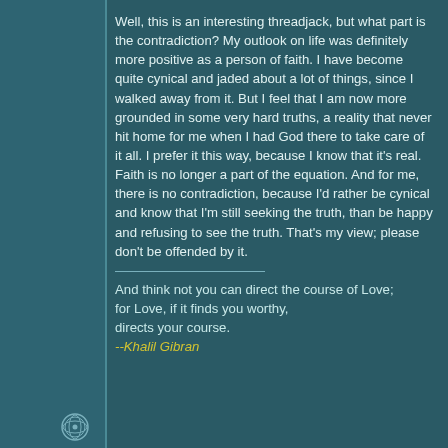Well, this is an interesting threadjack, but what part is the contradiction? My outlook on life was definitely more positive as a person of faith. I have become quite cynical and jaded about a lot of things, since I walked away from it. But I feel that I am now more grounded in some very hard truths, a reality that never hit home for me when I had God there to take care of it all. I prefer it this way, because I know that it's real. Faith is no longer a part of the equation. And for me, there is no contradiction, because I'd rather be cynical and know that I'm still seeking the truth, than be happy and refusing to see the truth. That's my view; please don't be offended by it.
And think not you can direct the course of Love;
for Love, if it finds you worthy, directs your course.
--Khalil Gibran